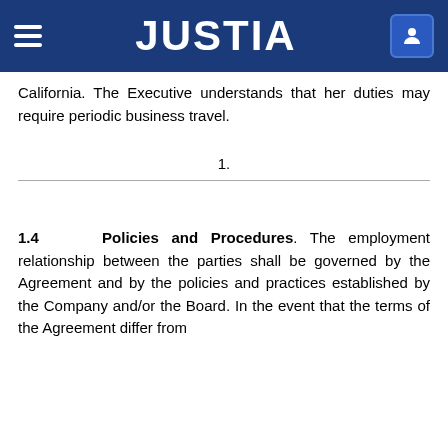JUSTIA
California. The Executive understands that her duties may require periodic business travel.
1.
1.4    Policies and Procedures. The employment relationship between the parties shall be governed by the Agreement and by the policies and practices established by the Company and/or the Board. In the event that the terms of the Agreement differ from